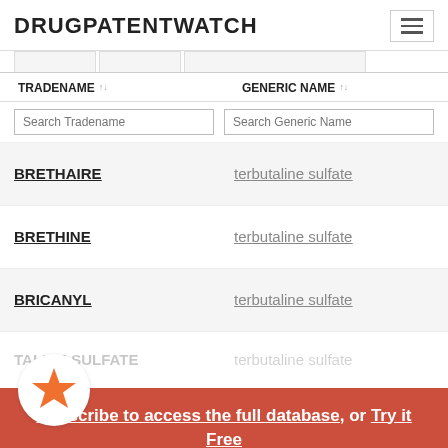DRUGPATENTWATCH
| TRADENAME | GENERIC NAME |
| --- | --- |
| BRETHAIRE | terbutaline sulfate |
| BRETHINE | terbutaline sulfate |
| BRICANYL | terbutaline sulfate |
| TERBUTALINE SULFATE | terbutaline sulfate |
Subscribe to access the full database, or Try it Free